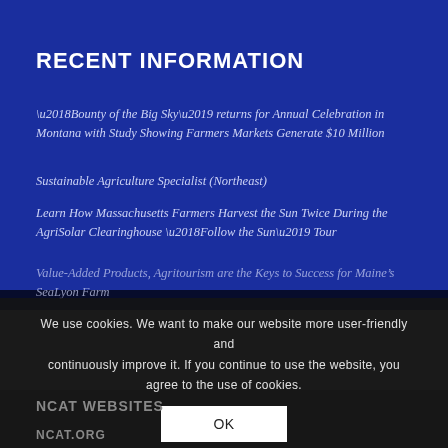RECENT INFORMATION
‘Bounty of the Big Sky’ returns for Annual Celebration in Montana with Study Showing Farmers Markets Generate $10 Million
Sustainable Agriculture Specialist (Northeast)
Learn How Massachusetts Farmers Harvest the Sun Twice During the AgriSolar Clearinghouse ‘Follow the Sun’ Tour
Value-Added Products, Agritourism are the Keys to Success for Maine’s SeaLyon Farm
We use cookies. We want to make our website more user-friendly and continuously improve it. If you continue to use the website, you agree to the use of cookies.
NCAT WEBSITES
NCAT.ORG